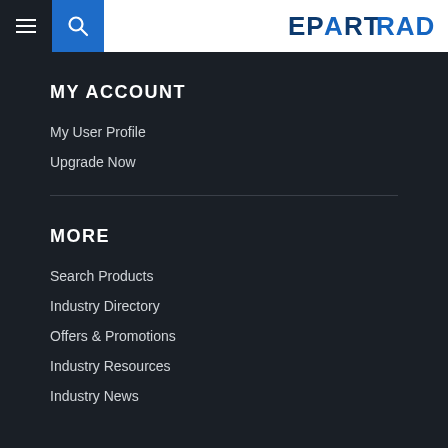EPARTRADE navigation header with hamburger menu, search, and logo
MY ACCOUNT
My User Profile
Upgrade Now
MORE
Search Products
Industry Directory
Offers & Promotions
Industry Resources
Industry News